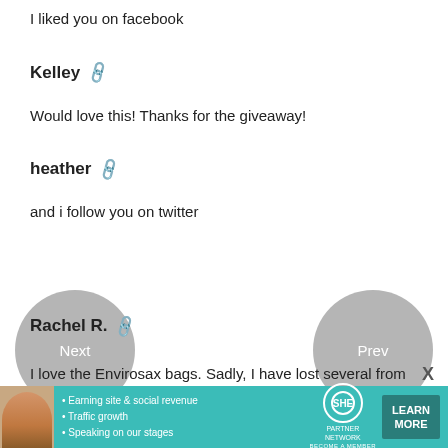I liked you on facebook
Kelley
Would love this! Thanks for the giveaway!
heather
and i follow you on twitter
Rachel R.
I love the Envirosax bags. Sadly, I have lost several from my original set and have been meaning to replace them
[Figure (other): Navigation circles: Next (left) and Prev (right)]
[Figure (other): Advertisement banner: SHE Partner Network - Earning site & social revenue, Traffic growth, Speaking on our stages. Learn More button.]